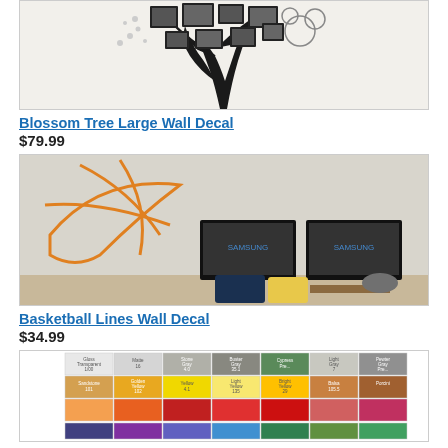[Figure (photo): Blossom Tree Large Wall Decal product photo showing a decorative tree wall decal with picture frames on a wall]
Blossom Tree Large Wall Decal
$79.99
[Figure (photo): Basketball Lines Wall Decal product photo showing orange basketball line decal on wall above two mounted TVs in a room]
Basketball Lines Wall Decal
$34.99
[Figure (photo): Color swatch chart showing a grid of available vinyl decal colors including various shades of gray, yellow, orange, red, green, and purple]